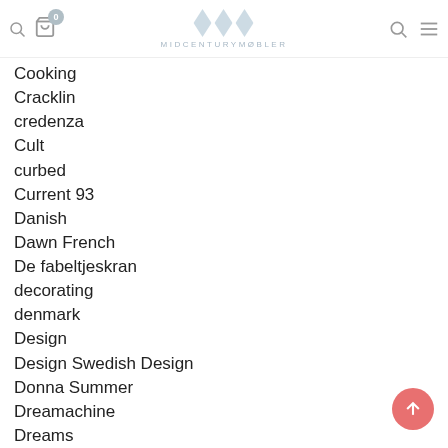MIDCENTURYMØBLER
Cooking
Cracklin
credenza
Cult
curbed
Current 93
Danish
Dawn French
De fabeltjeskran
decorating
denmark
Design
Design Swedish Design
Donna Summer
Dreamachine
Dreams
Drömmar
Eames
Eero Saarinen
Einar Nerman
Etsy
Eyes
Fablernas värld
Fashion
Fiesta